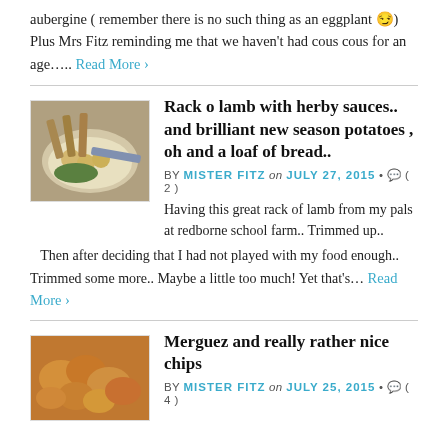aubergine ( remember there is no such thing as an eggplant 😏) Plus Mrs Fitz reminding me that we haven't had cous cous for an age….. Read More ›
Rack o lamb with herby sauces.. and brilliant new season potatoes , oh and a loaf of bread..
[Figure (photo): Photo of a rack of lamb with herby sauce, new season potatoes, and green peas on a white plate]
BY MISTER FITZ on JULY 27, 2015 • ( 2 )
Having this great rack of lamb from my pals at redborne school farm.. Trimmed up.. Then after deciding that I had not played with my food enough.. Trimmed some more.. Maybe a little too much! Yet that's… Read More ›
Merguez and really rather nice chips
[Figure (photo): Photo of chips (fried potato crisps) in a golden-brown color]
BY MISTER FITZ on JULY 25, 2015 • ( 4 )